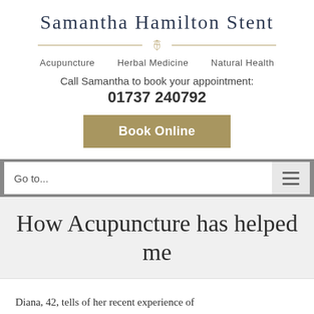Samantha Hamilton Stent
Acupuncture   Herbal Medicine   Natural Health
Call Samantha to book your appointment:
01737 240792
Book Online
Go to...
How Acupuncture has helped me
Diana, 42, tells of her recent experience of